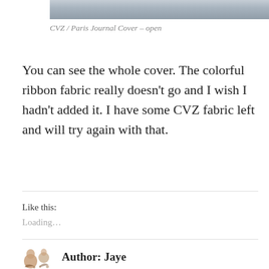[Figure (photo): Partial view of a journal cover, cropped at the top of the page]
CVZ / Paris Journal Cover – open
You can see the whole cover. The colorful ribbon fabric really doesn't go and I wish I hadn't added it. I have some CVZ fabric left and will try again with that.
Like this:
Loading...
Author: Jaye